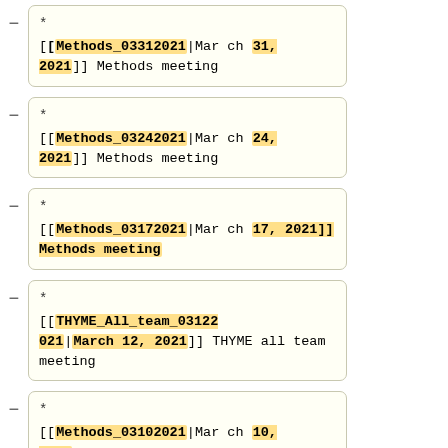* [[Methods_03312021|March 31, 2021]] Methods meeting
* [[Methods_03242021|March 24, 2021]] Methods meeting
* [[Methods_03172021|March 17, 2021]] Methods meeting
* [[THYME_All_team_03122021|March 12, 2021]] THYME all team meeting
* [[Methods_03102021|March 10, 2021]] Methods meeting